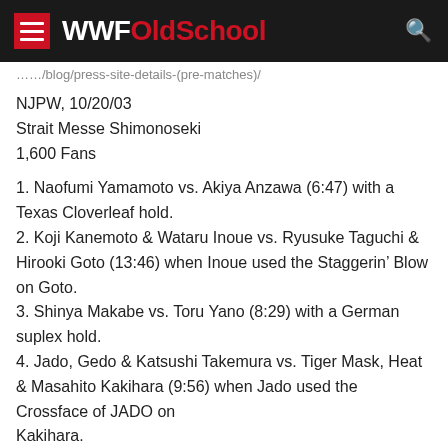WWFOldSchool
NJPW, 10/20/03
Strait Messe Shimonoseki
1,600 Fans
1. Naofumi Yamamoto vs. Akiya Anzawa (6:47) with a Texas Cloverleaf hold.
2. Koji Kanemoto & Wataru Inoue vs. Ryusuke Taguchi & Hirooki Goto (13:46) when Inoue used the Staggerin’ Blow on Goto.
3. Shinya Makabe vs. Toru Yano (8:29) with a German suplex hold.
4. Jado, Gedo & Katsushi Takemura vs. Tiger Mask, Heat & Masahito Kakihara (9:56) when Jado used the Crossface of JADO on Kakihara.